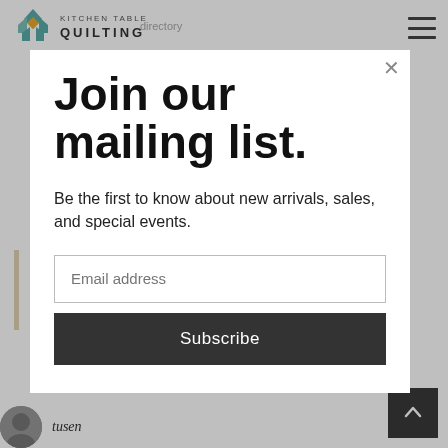Kitchen Table Quilting — navigation bar with logo and hamburger menu
Join our mailing list.
Be the first to know about new arrivals, sales, and special events.
Email address
Subscribe
tusen